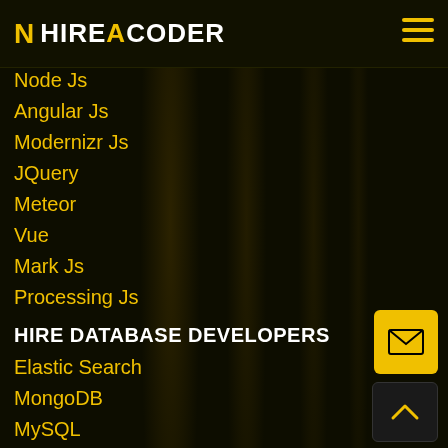HIREACODER
Node Js
Angular Js
Modernizr Js
JQuery
Meteor
Vue
Mark Js
Processing Js
HIRE DATABASE DEVELOPERS
Elastic Search
MongoDB
MySQL
HIRE DIGITAL MARKETING
Digital Marketing Manager